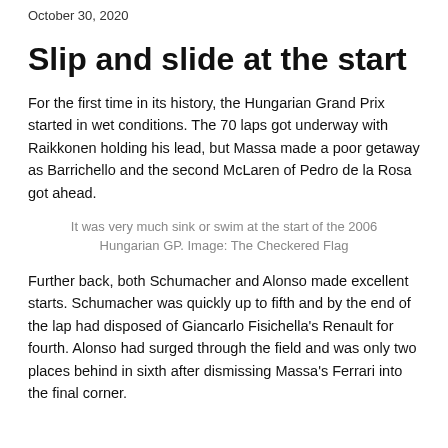October 30, 2020
Slip and slide at the start
For the first time in its history, the Hungarian Grand Prix started in wet conditions. The 70 laps got underway with Raikkonen holding his lead, but Massa made a poor getaway as Barrichello and the second McLaren of Pedro de la Rosa got ahead.
It was very much sink or swim at the start of the 2006 Hungarian GP. Image: The Checkered Flag
Further back, both Schumacher and Alonso made excellent starts. Schumacher was quickly up to fifth and by the end of the lap had disposed of Giancarlo Fisichella's Renault for fourth. Alonso had surged through the field and was only two places behind in sixth after dismissing Massa's Ferrari into the final corner.